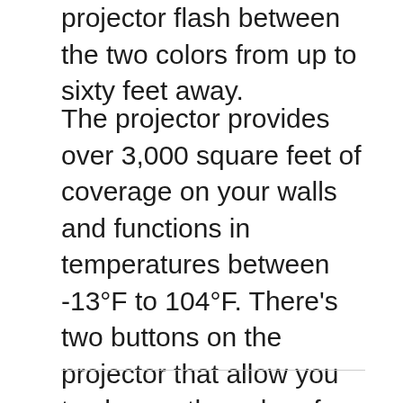projector flash between the two colors from up to sixty feet away.
The projector provides over 3,000 square feet of coverage on your walls and functions in temperatures between -13°F to 104°F. There’s two buttons on the projector that allow you to change the color of the lasers, and switch between rotating and steady mode.